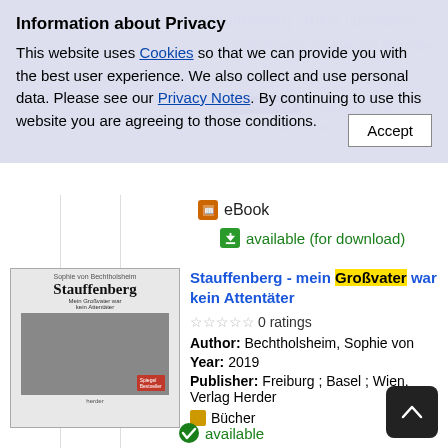Information about Privacy
This website uses Cookies so that we can provide you with the best user experience. We also collect and use personal data. Please see our Privacy Notes. By continuing to use this website you are agreeing to those conditions.
eBook
available (for download)
[Figure (photo): Book cover of Stauffenberg - mein Großvater war kein Attentäter by Sophie von Bechtholsheim]
Stauffenberg - mein Großvater war kein Attentäter
0 ratings
Author: Bechtholsheim, Sophie von
Year: 2019
Publisher: Freiburg ; Basel ; Wien, Verlag Herder
Bücher
available